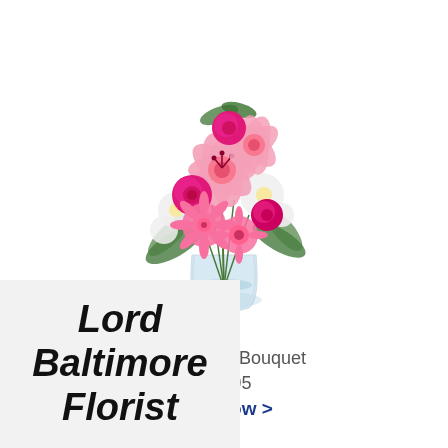[Figure (photo): A floral bouquet in a glass vase featuring pink lilies, hot pink roses, pink gerbera daisies, white flowers, and green ferns/foliage.]
Blush Rush Bouquet
$86.95
Buy Now >
Lord Baltimore Florist